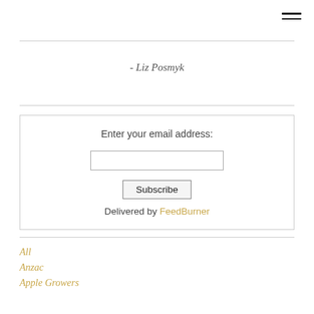[Figure (other): Hamburger menu icon (three horizontal lines) in top right corner]
- Liz Posmyk
[Figure (other): Email subscription form box with prompt 'Enter your email address:', an email input field, a Subscribe button, and 'Delivered by FeedBurner' link]
All
Anzac
Apple Growers